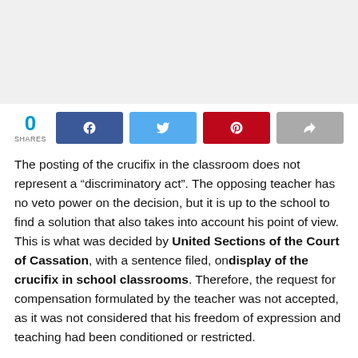[Figure (photo): Gray placeholder image at top of page]
0 SHARES [social share buttons: Facebook, Twitter, Pinterest, Share]
The posting of the crucifix in the classroom does not represent a “discriminatory act”. The opposing teacher has no veto power on the decision, but it is up to the school to find a solution that also takes into account his point of view. This is what was decided by United Sections of the Court of Cassation, with a sentence filed, ondisplay of the crucifix in school classrooms. Therefore, the request for compensation formulated by the teacher was not accepted, as it was not considered that his freedom of expression and teaching had been conditioned or restricted.
“The posting of the crucifix, to which, in a country like Italy,